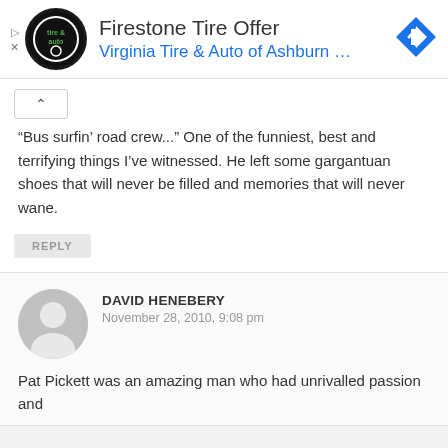[Figure (other): Firestone Tire Offer advertisement banner with Virginia Tire & Auto of Ashburn logo and navigation arrow icon]
“Bus surfin’ road crew...” One of the funniest, best and terrifying things I’ve witnessed. He left some gargantuan shoes that will never be filled and memories that will never wane.
REPLY
DAVID HENEBERY
November 28, 2010, 9:08 pm
Pat Pickett was an amazing man who had unrivalled passion and